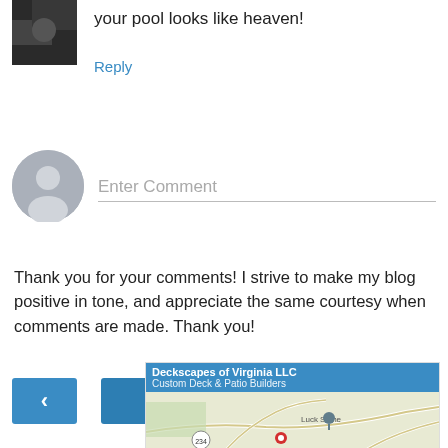your pool looks like heaven!
Reply
[Figure (other): User avatar placeholder icon (gray circle with silhouette)]
Enter Comment
Thank you for your comments! I strive to make my blog positive in tone, and appreciate the same courtesy when comments are made. Thank you!
‹
Home
›
View web version
[Figure (screenshot): Map advertisement for Deckscapes of Virginia LLC - Custom Deck & Patio Builders, showing Google Maps with Luck Stone location marker, route 234, and a red location pin]